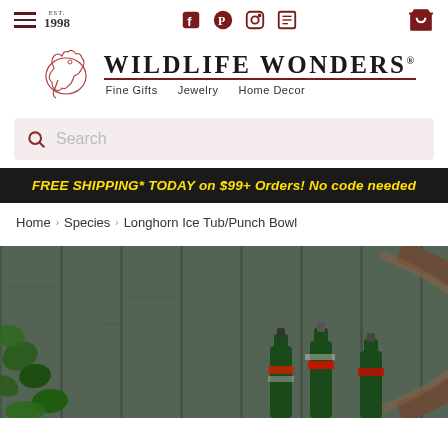Wildlife Wonders — Fine Gifts, Jewelry, Home Decor
Search
FREE SHIPPING* TODAY on $99+ Orders! No code needed
Home › Species › Longhorn Ice Tub/Punch Bowl
[Figure (photo): Product photo showing a Longhorn Ice Tub/Punch Bowl with green beer bottles on a dark green wooden fence background, with ivy leaves visible on the left]